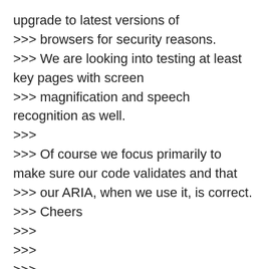upgrade to latest versions of
>>> browsers for security reasons.
>>> We are looking into testing at least key pages with screen
>>> magnification and speech recognition as well.
>>>
>>> Of course we focus primarily to make sure our code validates and that
>>> our ARIA, when we use it, is correct.
>>> Cheers
>>>
>>>
>>>
>>>
>>> On 10/29/16, JP Jamous <= EMAIL ADDRESS REMOVED => wrote: